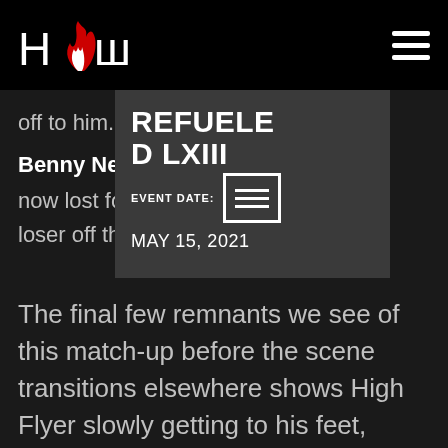HΩω (logo with flame icon)
[Figure (logo): HOW wrestling federation logo with white text H, flame graphic in red/white, and W characters on black background]
off to him.
Benny New [partially obscured] Flyer has now lost fo [partially obscured] Get this loser off this ship!!
[Figure (infographic): Dark grey overlay popup showing event info: REFUELED LXIII with a hamburger menu icon in a white-bordered box, EVENT DATE: MAY 15, 2021]
The final few remnants we see of this match-up before the scene transitions elsewhere shows High Flyer slowly getting to his feet, shaking his head in disappointment, and Arthur Pleasant